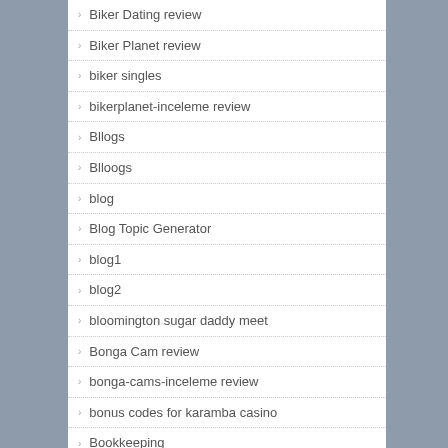Biker Dating review
Biker Planet review
biker singles
bikerplanet-inceleme review
Bllogs
Blloogs
blog
Blog Topic Generator
blog1
blog2
bloomington sugar daddy meet
Bonga Cam review
bonga-cams-inceleme review
bonus codes for karamba casino
Bookkeeping